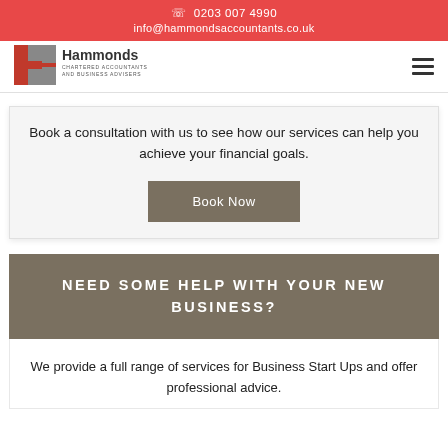0203 007 4990
info@hammondsaccountants.co.uk
[Figure (logo): Hammonds Chartered Accountants and Business Advisers logo with a red and grey H lettermark]
Book a consultation with us to see how our services can help you achieve your financial goals.
Book Now
NEED SOME HELP WITH YOUR NEW BUSINESS?
We provide a full range of services for Business Start Ups and offer professional advice.